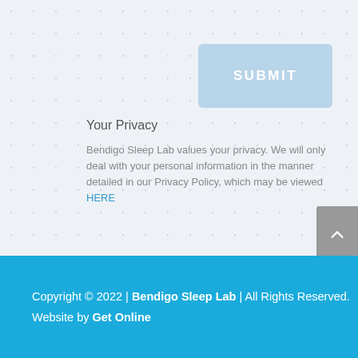[Figure (screenshot): Submit button - light blue rounded rectangle with white text SUBMIT]
Your Privacy
Bendigo Sleep Lab values your privacy. We will only deal with your personal information in the manner detailed in our Privacy Policy, which may be viewed HERE
[Figure (other): Back to top button - grey square with white upward chevron arrow]
Copyright © 2022 | Bendigo Sleep Lab | All Rights Reserved. Website by Get Online